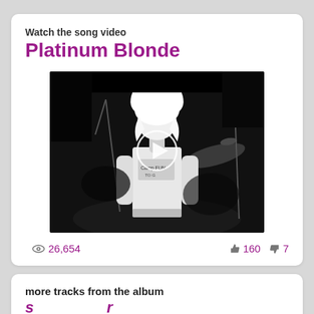Watch the song video
Platinum Blonde
[Figure (screenshot): Black and white video thumbnail of a blonde female performer on stage with a play button overlay]
👁 26,654   👍 160   👎 7
more tracks from the album